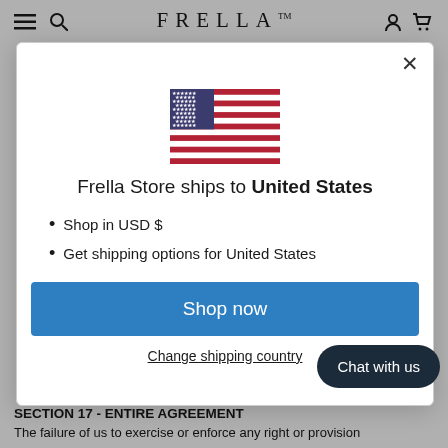FRELLA™
[Figure (screenshot): Modal dialog on FRELLA store website showing US flag, shipping information, and shop now button]
Frella Store ships to United States
Shop in USD $
Get shipping options for United States
Shop now
Change shipping country
Chat with us
SECTION 17 - ENTIRE AGREEMENT
The failure of us to exercise or enforce any right or provision